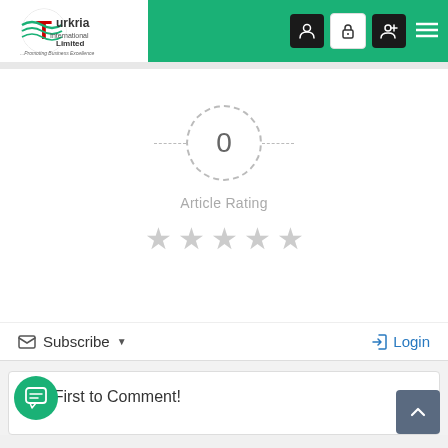[Figure (logo): Turkria International Limited logo with globe icon and tagline Promoting Business Excellence]
[Figure (infographic): Article rating widget showing 0 rating inside dashed circle with dashed lines on sides, Article Rating label, and 5 empty gray stars]
Subscribe ▾
➡ Login
the First to Comment!